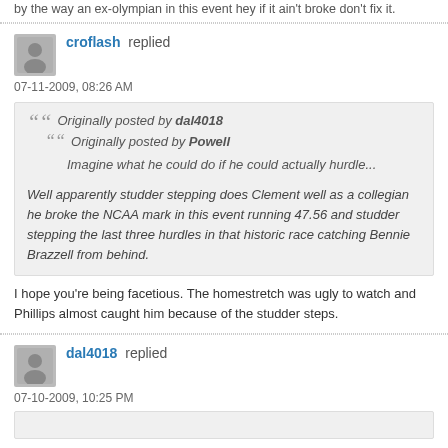by the way an ex-olympian in this event hey if it ain't broke don't fix it.
croflash replied
07-11-2009, 08:26 AM
Originally posted by dal4018
Originally posted by Powell
Imagine what he could do if he could actually hurdle...
Well apparently studder stepping does Clement well as a collegian he broke the NCAA mark in this event running 47.56 and studder stepping the last three hurdles in that historic race catching Bennie Brazzell from behind.
I hope you're being facetious. The homestretch was ugly to watch and Phillips almost caught him because of the studder steps.
dal4018 replied
07-10-2009, 10:25 PM